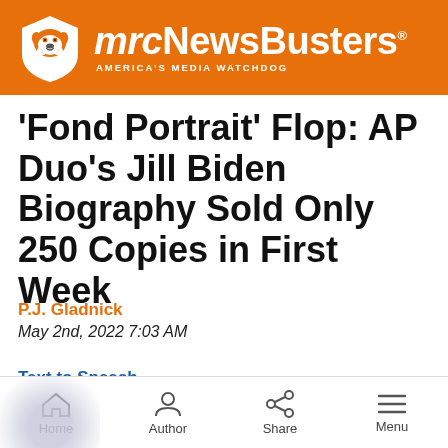mrcNewsBusters — AMERICA'S MEDIA WATCHDOG
'Fond Portrait' Flop: AP Duo's Jill Biden Biography Sold Only 250 Copies in First Week
P.J. Gladnick
May 2nd, 2022 7:03 AM
Text to Speech
Home  Author  Share  Menu